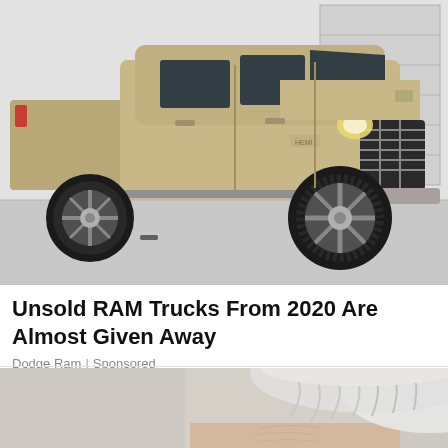[Figure (photo): A tan/gold Dodge RAM pickup truck parked inside a garage with white walls and a white garage door in the background. The truck is a large crew cab with chrome wheels and all-terrain tires.]
Unsold RAM Trucks From 2020 Are Almost Given Away
Dodge Ram | Sponsored
[Figure (photo): Partial view of an elderly person's head showing white/grey hair, cropped at the bottom of the page.]